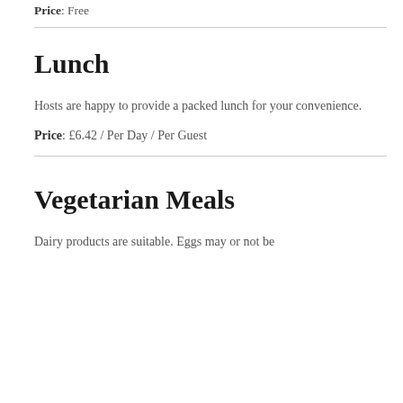Price: Free
Lunch
Hosts are happy to provide a packed lunch for your convenience.
Price: £6.42 / Per Day / Per Guest
Vegetarian Meals
Dairy products are suitable. Eggs may or not be